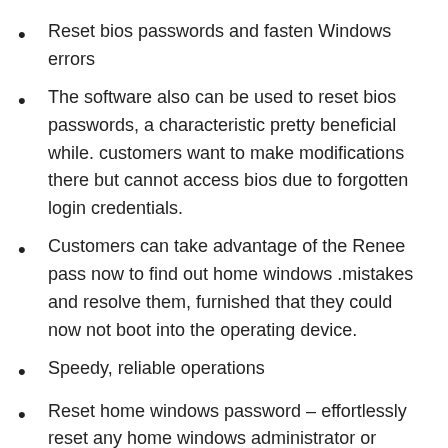Reset bios passwords and fasten Windows errors
The software also can be used to reset bios passwords, a characteristic pretty beneficial while. customers want to make modifications there but cannot access bios due to forgotten login credentials.
Customers can take advantage of the Renee pass now to find out home windows .mistakes and resolve them, furnished that they could now not boot into the operating device.
Speedy, reliable operations
Reset home windows password – effortlessly reset any home windows administrator or consumer's account Passwords on home Windows device
Clone hard force disk control solutions for partition/disk cloning. Growing a photograph permits